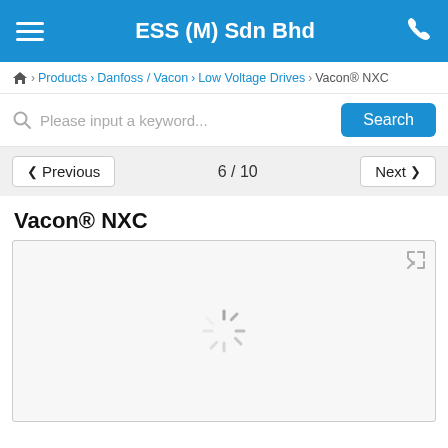ESS (M) Sdn Bhd
Home > Products > Danfoss / Vacon > Low Voltage Drives > Vacon® NXC
Please input a keyword... Search
Previous   6 / 10   Next
Vacon® NXC
[Figure (photo): Loading spinner in the center of a light gray image placeholder box with expand icon in top-right corner]